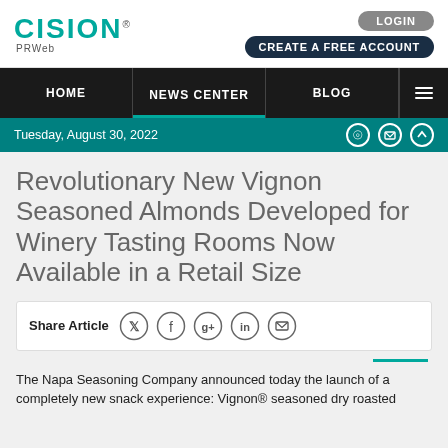CISION PRWeb
LOGIN | CREATE A FREE ACCOUNT
HOME | NEWS CENTER | BLOG
Tuesday, August 30, 2022
Revolutionary New Vignon Seasoned Almonds Developed for Winery Tasting Rooms Now Available in a Retail Size
Share Article
The Napa Seasoning Company announced today the launch of a completely new snack experience: Vignon® seasoned dry roasted